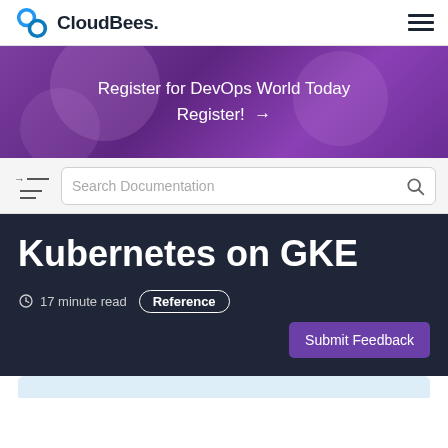CloudBees.
[Figure (infographic): Purple banner with text: Register for DevOps World Today Register! →]
Search Documentation
Kubernetes on GKE
17 minute read  Reference
Submit Feedback